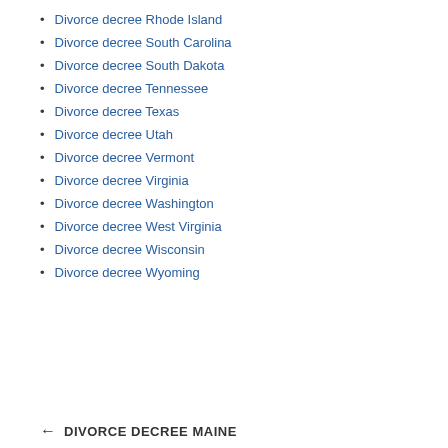Divorce decree Rhode Island
Divorce decree South Carolina
Divorce decree South Dakota
Divorce decree Tennessee
Divorce decree Texas
Divorce decree Utah
Divorce decree Vermont
Divorce decree Virginia
Divorce decree Washington
Divorce decree West Virginia
Divorce decree Wisconsin
Divorce decree Wyoming
← DIVORCE DECREE MAINE